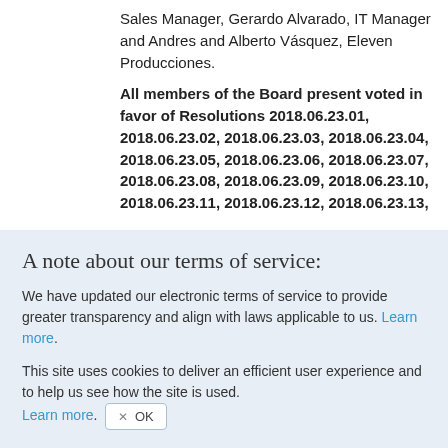Sales Manager, Gerardo Alvarado, IT Manager and Andres and Alberto Vásquez, Eleven Producciones.
All members of the Board present voted in favor of Resolutions 2018.06.23.01, 2018.06.23.02, 2018.06.23.03, 2018.06.23.04, 2018.06.23.05, 2018.06.23.06, 2018.06.23.07, 2018.06.23.08, 2018.06.23.09, 2018.06.23.10, 2018.06.23.11, 2018.06.23.12, 2018.06.23.13,
A note about our terms of service:
We have updated our electronic terms of service to provide greater transparency and align with laws applicable to us. Learn more.
This site uses cookies to deliver an efficient user experience and to help us see how the site is used. Learn more. OK